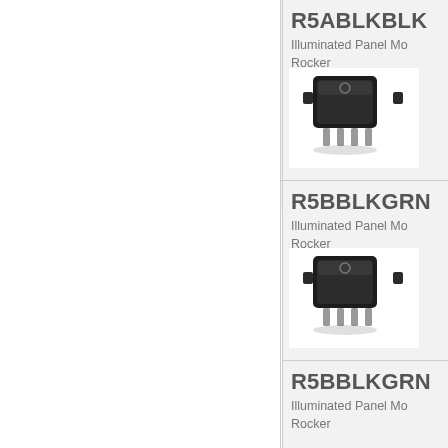R5ABLKBLK
Illuminated Panel Mo Rocker
[Figure (photo): Black rocker switch component, small rectangular black switch with metal pins]
R5BBLKGRN
Illuminated Panel Mo Rocker
[Figure (photo): Black rocker switch component, small rectangular black switch with metal pins]
R5BBLKGRN
Illuminated Panel Mo Rocker
[Figure (photo): Green illuminated rocker switch component, rectangular green glowing switch with black housing and metal pins]
R5ABLKBLK